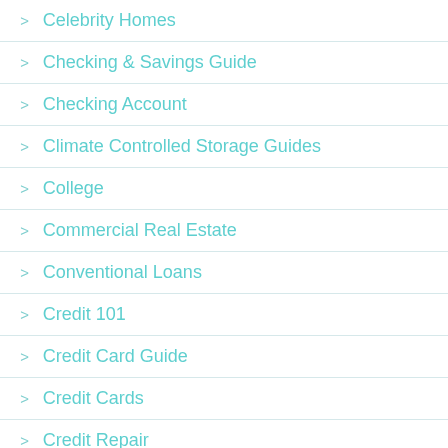Celebrity Homes
Checking & Savings Guide
Checking Account
Climate Controlled Storage Guides
College
Commercial Real Estate
Conventional Loans
Credit 101
Credit Card Guide
Credit Cards
Credit Repair
Debt
DIY
Early Career